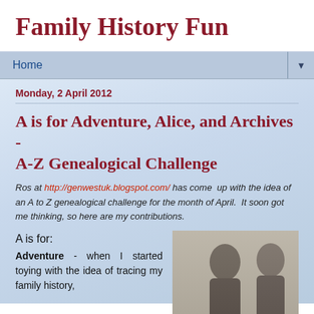Family History Fun
Home ▼
Monday, 2 April 2012
A is for Adventure, Alice, and Archives - A-Z Genealogical Challenge
Ros at http://genwestuk.blogspot.com/ has come up with the idea of an A to Z genealogical challenge for the month of April. It soon got me thinking, so here are my contributions.
A is for:
Adventure - when I started toying with the idea of tracing my family history,
[Figure (photo): Black and white vintage photograph of two women]